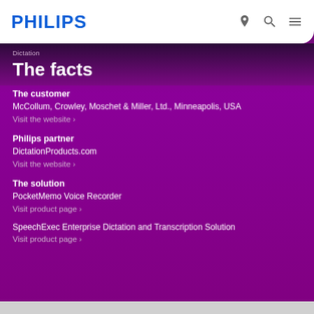PHILIPS
Dictation
The facts
The customer
McCollum, Crowley, Moschet & Miller, Ltd., Minneapolis, USA
Visit the website ›
Philips partner
DictationProducts.com
Visit the website ›
The solution
PocketMemo Voice Recorder
Visit product page ›
SpeechExec Enterprise Dictation and Transcription Solution
Visit product page ›